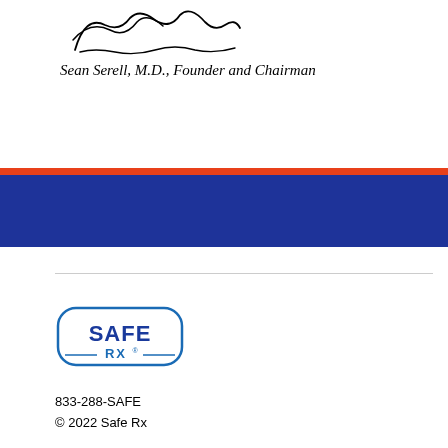[Figure (illustration): Handwritten signature of Sean Serell]
Sean Serell, M.D., Founder and Chairman
[Figure (logo): Safe Rx logo — rounded rectangle border with SAFE in bold blue and RX below with registered trademark symbol]
833-288-SAFE
© 2022 Safe Rx